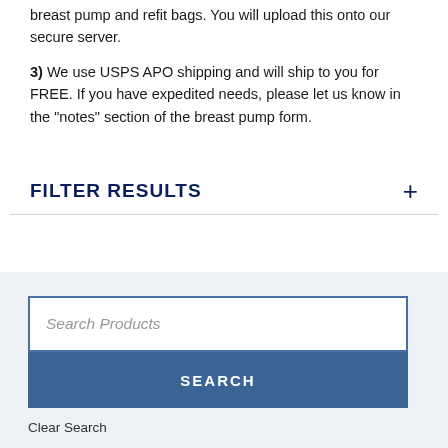breast pump and refit bags. You will upload this onto our secure server.
3) We use USPS APO shipping and will ship to you for FREE. If you have expedited needs, please let us know in the "notes" section of the breast pump form.
FILTER RESULTS
[Figure (screenshot): Search Products input box with SEARCH button and Clear Search link below, followed by a Default dropdown]
Clear Search
Default